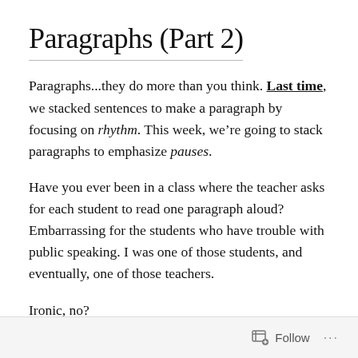Paragraphs (Part 2)
Paragraphs...they do more than you think. Last time, we stacked sentences to make a paragraph by focusing on rhythm. This week, we’re going to stack paragraphs to emphasize pauses.
Have you ever been in a class where the teacher asks for each student to read one paragraph aloud? Embarrassing for the students who have trouble with public speaking. I was one of those students, and eventually, one of those teachers.
Ironic, no?
Follow